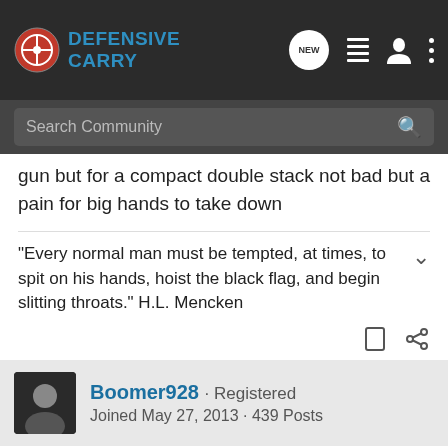Defensive Carry
gun but for a compact double stack not bad but a pain for big hands to take down
"Every normal man must be tempted, at times, to spit on his hands, hoist the black flag, and begin slitting throats." H.L. Mencken
Boomer928 · Registered
Joined May 27, 2013 · 439 Posts
#12 · Jan 16, 2017
[Figure (screenshot): Advertisement banner: FREE AMMO & MAGAZINE with purchase of a P365 SIG Sauer. LEARN MORE button.]
What ab... the range to... as